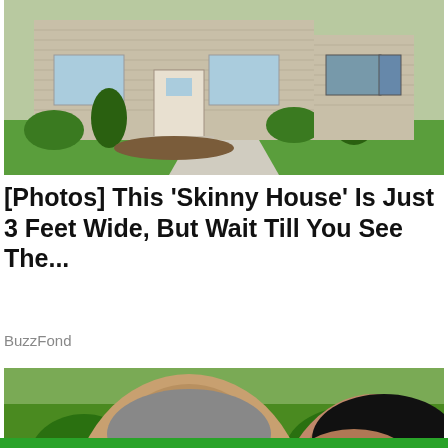[Figure (photo): Exterior photo of a beige/tan suburban house with green lawn, shrubs, and trees in spring]
[Photos] This 'Skinny House' Is Just 3 Feet Wide, But Wait Till You See The...
BuzzFond
[Figure (photo): Two people wearing sunglasses outdoors with lush green trees and yellow flowers in the background]
Privacy & Cookies: This site uses cookies. By continuing to use this website, you agree to their use.
To find out more, including how to control cookies, see here: Cookie Policy
Close and accept